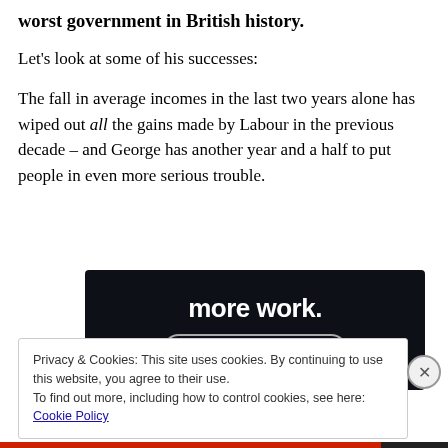worst government in British history.
Let's look at some of his successes:
The fall in average incomes in the last two years alone has wiped out all the gains made by Labour in the previous decade – and George has another year and a half to put people in even more serious trouble.
[Figure (other): Dark advertisement banner with white bold text 'more work.' and a 'Get started for free' button]
Privacy & Cookies: This site uses cookies. By continuing to use this website, you agree to their use.
To find out more, including how to control cookies, see here: Cookie Policy